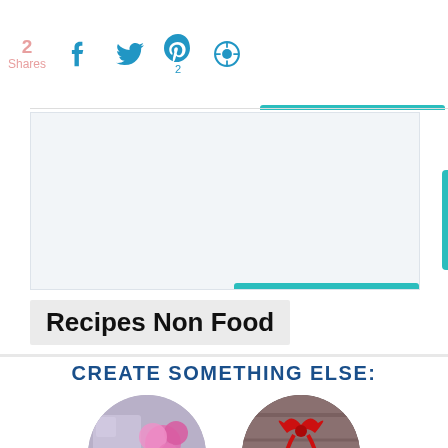2 Shares | Facebook | Twitter | Pinterest (2) | Print
[Figure (other): Advertisement placeholder area with teal bar at bottom]
Recipes Non Food
CREATE SOMETHING ELSE:
[Figure (photo): Two circular thumbnail images: left shows crafts with flowers on teal background, right shows holiday decoration with red bow and tea cup]